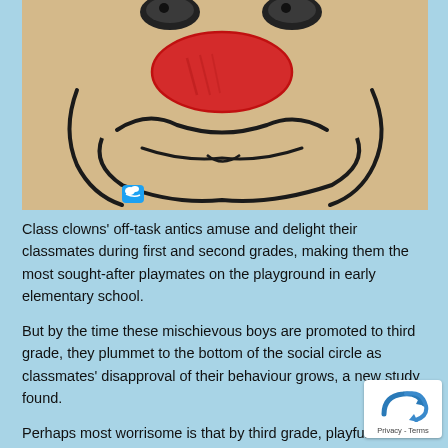[Figure (illustration): Cartoon illustration of a clown face with a large red nose, smiling mouth drawn in black lines, on a tan/beige background. A small blue Twitter bird icon is visible at the bottom left of the image.]
Class clowns' off-task antics amuse and delight their classmates during first and second grades, making them the most sought-after playmates on the playground in early elementary school.
But by the time these mischievous boys are promoted to third grade, they plummet to the bottom of the social circle as classmates' disapproval of their behaviour grows, a new study found.
Perhaps most worrisome is that by third grade, playful